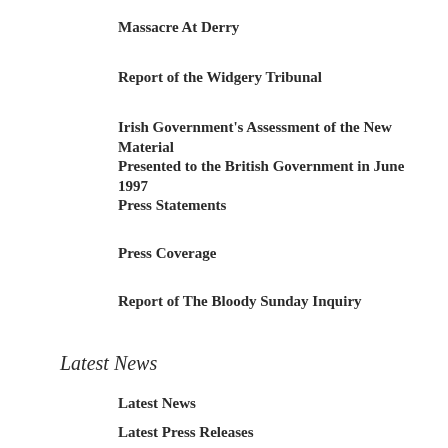Massacre At Derry
Report of the Widgery Tribunal
Irish Government's Assessment of the New Material Presented to the British Government in June 1997
Press Statements
Press Coverage
Report of The Bloody Sunday Inquiry
Latest News
Latest News
Latest Press Releases